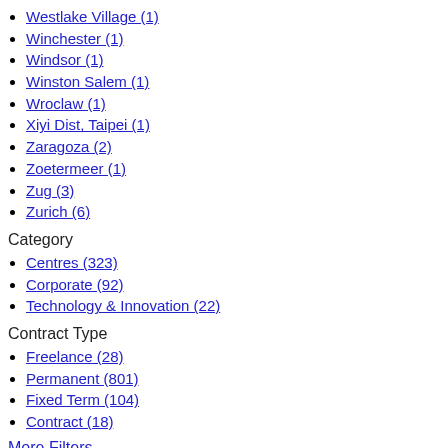Westlake Village (1)
Winchester (1)
Windsor (1)
Winston Salem (1)
Wroclaw (1)
Xiyi Dist, Taipei (1)
Zaragoza (2)
Zoetermeer (1)
Zug (3)
Zurich (6)
Category
Centres (323)
Corporate (92)
Technology & Innovation (22)
Contract Type
Freelance (28)
Permanent (801)
Fixed Term (104)
Contract (18)
More Filters